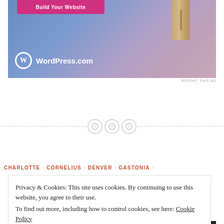[Figure (screenshot): WordPress.com advertisement banner with pink 'Build Your Website' button, wooden scroll element, and WordPress.com logo on blue-pink gradient background]
REPORT THIS AD
[Figure (other): Horizontal dashed divider line with three circular button icons in the center]
CHARLOTTE · CORNELIUS · DENVER · GASTONIA ·
Privacy & Cookies: This site uses cookies. By continuing to use this website, you agree to their use.
To find out more, including how to control cookies, see here: Cookie Policy
Close and accept